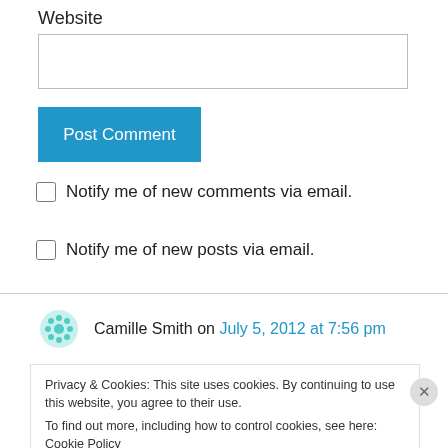Website
Post Comment
Notify me of new comments via email.
Notify me of new posts via email.
Camille Smith on July 5, 2012 at 7:56 pm
Privacy & Cookies: This site uses cookies. By continuing to use this website, you agree to their use.
To find out more, including how to control cookies, see here: Cookie Policy
Close and accept